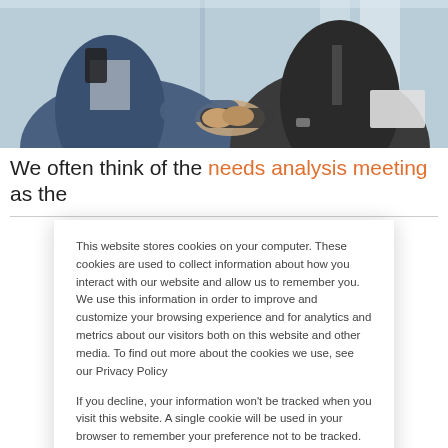[Figure (photo): Two business professionals in suits shaking hands; one holding a tablet, the other holding a folder/laptop under his arm. Office/glass building background.]
We often think of the needs analysis meeting as the
This website stores cookies on your computer. These cookies are used to collect information about how you interact with our website and allow us to remember you. We use this information in order to improve and customize your browsing experience and for analytics and metrics about our visitors both on this website and other media. To find out more about the cookies we use, see our Privacy Policy

If you decline, your information won't be tracked when you visit this website. A single cookie will be used in your browser to remember your preference not to be tracked.
Accept
Decline